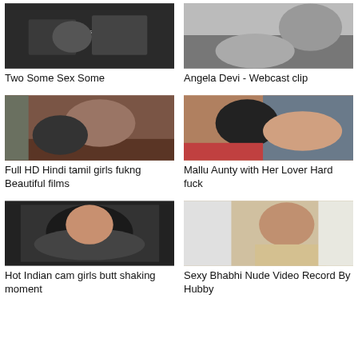[Figure (photo): Video thumbnail - Two Some Sex Some]
Two Some Sex Some
[Figure (photo): Video thumbnail - Angela Devi Webcast clip]
Angela Devi - Webcast clip
[Figure (photo): Video thumbnail - Full HD Hindi tamil girls fukng Beautiful films]
Full HD Hindi tamil girls fukng Beautiful films
[Figure (photo): Video thumbnail - Mallu Aunty with Her Lover Hard fuck]
Mallu Aunty with Her Lover Hard fuck
[Figure (photo): Video thumbnail - Hot Indian cam girls butt shaking moment]
Hot Indian cam girls butt shaking moment
[Figure (photo): Video thumbnail - Sexy Bhabhi Nude Video Record By Hubby]
Sexy Bhabhi Nude Video Record By Hubby